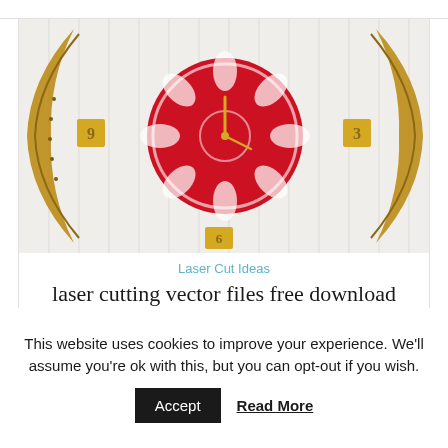[Figure (photo): A laser-cut decorative wall clock with a floral/butterfly pattern. The clock face is red with white cut-out floral designs, mounted on a white slatted wall. Around it are large wooden crescent arc pieces with intricate laser-cut patterns and wooden number markers.]
Laser Cut Ideas
laser cutting vector files free download Laser Cutting Designs
This website uses cookies to improve your experience. We'll assume you're ok with this, but you can opt-out if you wish.
Accept
Read More